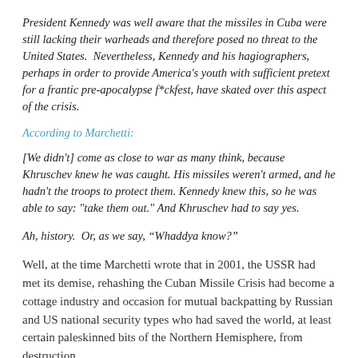President Kennedy was well aware that the missiles in Cuba were still lacking their warheads and therefore posed no threat to the United States. Nevertheless, Kennedy and his hagiographers, perhaps in order to provide America's youth with sufficient pretext for a frantic pre-apocalypse f*ckfest, have skated over this aspect of the crisis.
According to Marchetti:
[We didn't] come as close to war as many think, because Khruschev knew he was caught. His missiles weren't armed, and he hadn't the troops to protect them. Kennedy knew this, so he was able to say: "take them out." And Khruschev had to say yes.
Ah, history. Or, as we say, “Whaddya know?”
Well, at the time Marchetti wrote that in 2001, the USSR had met its demise, rehashing the Cuban Missile Crisis had become a cottage industry and occasion for mutual backpatting by Russian and US national security types who had saved the world, at least certain paleskinned bits of the Northern Hemisphere, from destruction…
…and it was pretty categorically stated that Cuba was